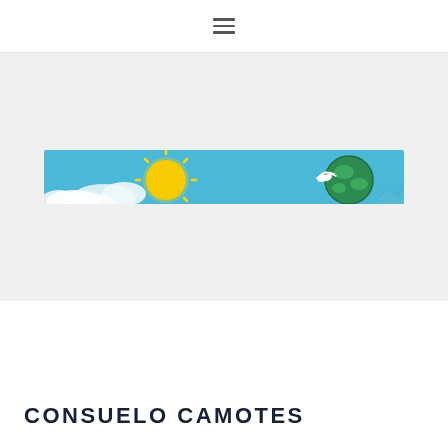≡
[Figure (illustration): A wide banner illustration on a light gray background showing a sunny sky scene. On the left side, a bright yellow sun with rays and a white cloud on a blue sky background. On the right side, a green globe/earth with a white bird (dove) silhouette flying in front of it, also against a blue sky.]
CONSUELO CAMOTES